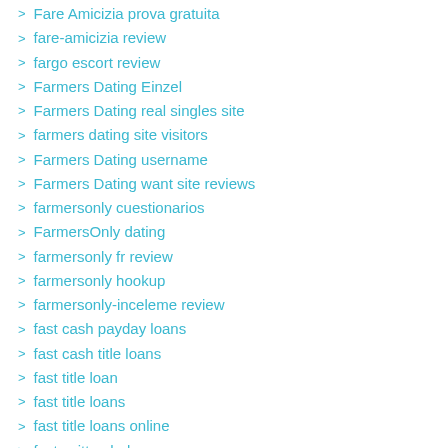Fare Amicizia prova gratuita
fare-amicizia review
fargo escort review
Farmers Dating Einzel
Farmers Dating real singles site
farmers dating site visitors
Farmers Dating username
Farmers Dating want site reviews
farmersonly cuestionarios
FarmersOnly dating
farmersonly fr review
farmersonly hookup
farmersonly-inceleme review
fast cash payday loans
fast cash title loans
fast title loan
fast title loans
fast title loans online
fast written help